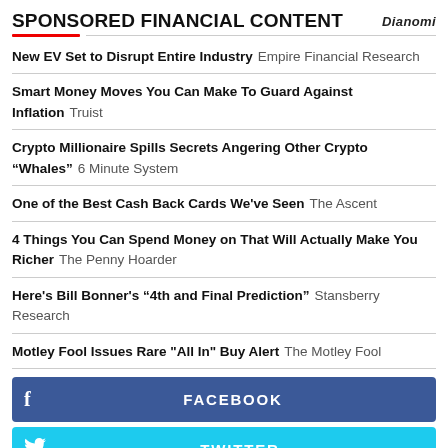SPONSORED FINANCIAL CONTENT
New EV Set to Disrupt Entire Industry Empire Financial Research
Smart Money Moves You Can Make To Guard Against Inflation Truist
Crypto Millionaire Spills Secrets Angering Other Crypto "Whales" 6 Minute System
One of the Best Cash Back Cards We've Seen The Ascent
4 Things You Can Spend Money on That Will Actually Make You Richer The Penny Hoarder
Here's Bill Bonner's “4th and Final Prediction” Stansberry Research
Motley Fool Issues Rare "All In" Buy Alert The Motley Fool
[Figure (other): Facebook share button]
[Figure (other): Twitter share button]